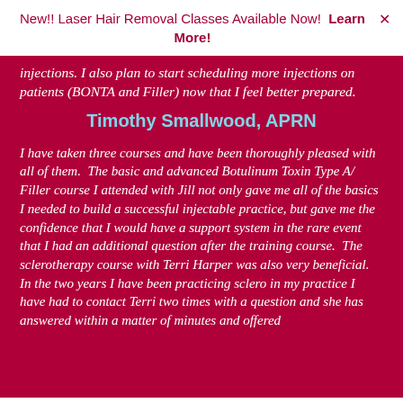New!! Laser Hair Removal Classes Available Now!  Learn More!
injections. I also plan to start scheduling more injections on patients (BONTA and Filler) now that I feel better prepared.
Timothy Smallwood, APRN
I have taken three courses and have been thoroughly pleased with all of them.  The basic and advanced Botulinum Toxin Type A/ Filler course I attended with Jill not only gave me all of the basics I needed to build a successful injectable practice, but gave me the confidence that I would have a support system in the rare event that I had an additional question after the training course.  The sclerotherapy course with Terri Harper was also very beneficial.  In the two years I have been practicing sclero in my practice I have had to contact Terri two times with a question and she has answered within a matter of minutes and offered